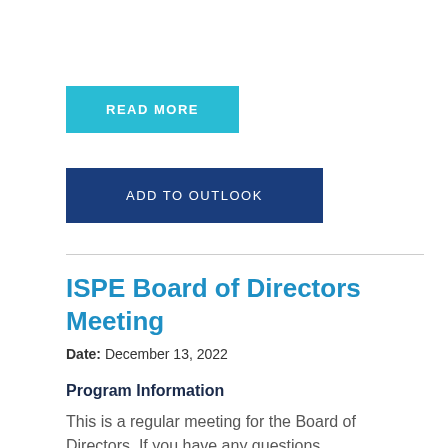READ MORE
ADD TO OUTLOOK
ISPE Board of Directors Meeting
Date: December 13, 2022
Program Information
This is a regular meeting for the Board of Directors. If you have any questions,